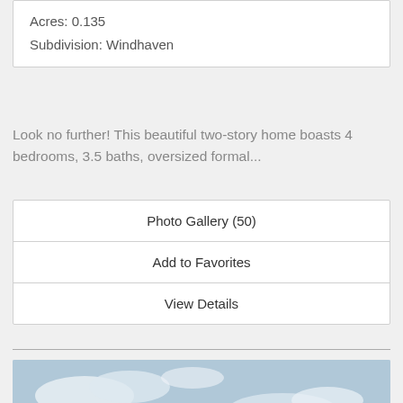| Acres: 0.135 |
| Subdivision: Windhaven |
Look no further! This beautiful two-story home boasts 4 bedrooms, 3.5 baths, oversized formal...
| Photo Gallery (50) |
| Add to Favorites |
| View Details |
[Figure (photo): Exterior photo of a two-story brick and siding house with a two-car garage, blue shutters, and a partly cloudy sky.]